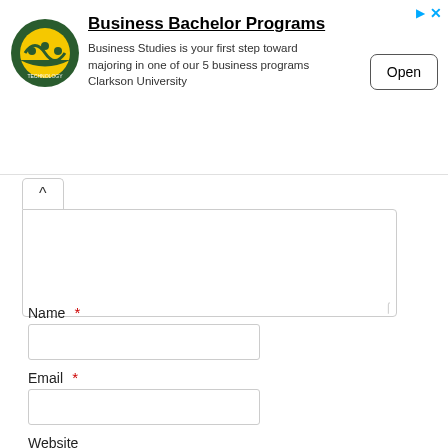[Figure (infographic): Advertisement banner for Clarkson University Business Bachelor Programs with university logo, program description, and Open button]
Name *
Email *
Website
[Figure (other): reCAPTCHA widget partially visible at bottom of page]